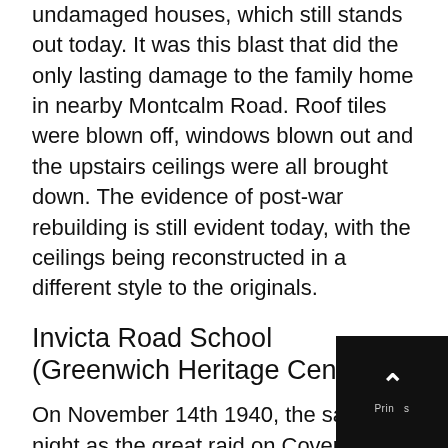undamaged houses, which still stands out today. It was this blast that did the only lasting damage to the family home in nearby Montcalm Road. Roof tiles were blown off, windows blown out and the upstairs ceilings were all brought down. The evidence of post-war rebuilding is still evident today, with the ceilings being reconstructed in a different style to the originals.
Invicta Road School (Greenwich Heritage Centre)
On November 14th 1940, the same night as the great raid on Coventry, southeast London also suffered. In Charlton Park Lane, near the junction with Shooters Hill Road, near to where Charlton Lido now stands, a parachute mine fell and became entangled in tre… Fortunately, there was sufficient time to evacuat… residents of the adjacent houses, before it exploded